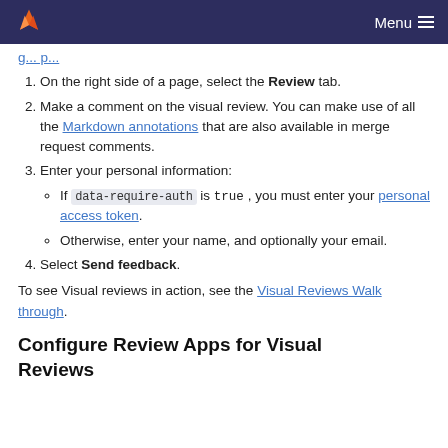Menu
On the right side of a page, select the Review tab.
Make a comment on the visual review. You can make use of all the Markdown annotations that are also available in merge request comments.
Enter your personal information:
If data-require-auth is true, you must enter your personal access token.
Otherwise, enter your name, and optionally your email.
Select Send feedback.
To see Visual reviews in action, see the Visual Reviews Walk through.
Configure Review Apps for Visual Reviews